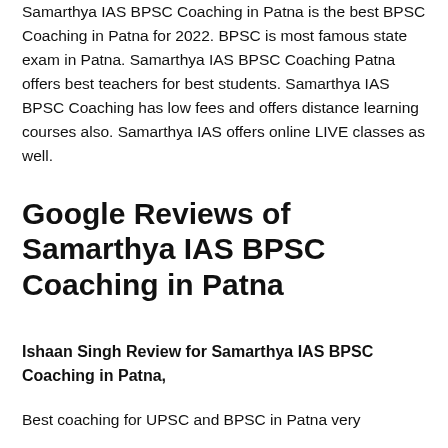Samarthya IAS BPSC Coaching in Patna is the best BPSC Coaching in Patna for 2022. BPSC is most famous state exam in Patna. Samarthya IAS BPSC Coaching Patna offers best teachers for best students. Samarthya IAS BPSC Coaching has low fees and offers distance learning courses also. Samarthya IAS offers online LIVE classes as well.
Google Reviews of Samarthya IAS BPSC Coaching in Patna
Ishaan Singh Review for Samarthya IAS BPSC Coaching in Patna,
Best coaching for UPSC and BPSC in Patna very